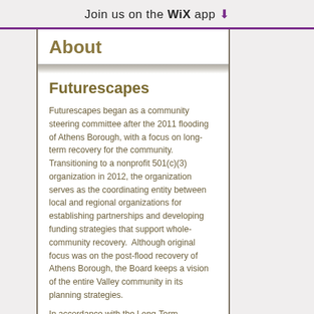Join us on the WiX app ⬇
About
Futurescapes
Futurescapes began as a community steering committee after the 2011 flooding of Athens Borough, with a focus on long-term recovery for the community. Transitioning to a nonprofit 501(c)(3) organization in 2012, the organization serves as the coordinating entity between local and regional organizations for establishing partnerships and developing funding strategies that support whole-community recovery.  Although original focus was on the post-flood recovery of Athens Borough, the Board keeps a vision of the entire Valley community in its planning strategies.
In accordance with the Long-Term